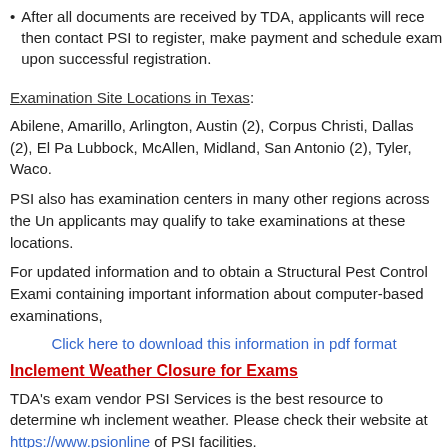After all documents are received by TDA, applicants will receive then contact PSI to register, make payment and schedule exam upon successful registration.
Examination Site Locations in Texas:
Abilene, Amarillo, Arlington, Austin (2), Corpus Christi, Dallas (2), El Pa Lubbock, McAllen, Midland, San Antonio (2), Tyler, Waco.
PSI also has examination centers in many other regions across the Un applicants may qualify to take examinations at these locations.
For updated information and to obtain a Structural Pest Control Exami containing important information about computer-based examinations,
Click here to download this information in pdf format
Inclement Weather Closure for Exams
TDA's exam vendor PSI Services is the best resource to determine wh inclement weather. Please check their website at https://www.psionline of PSI facilities.
Texas Homeland Security | Texas Veterans Portal | Tex Mission Statement | Site Policies | Site Ma © 2022 Texa